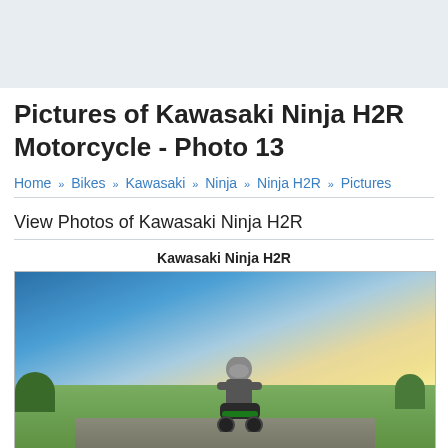Pictures of Kawasaki Ninja H2R Motorcycle - Photo 13
Home » Bikes » Kawasaki » Ninja » Ninja H2R » Pictures
View Photos of Kawasaki Ninja H2R
Kawasaki Ninja H2R
[Figure (photo): Kawasaki Ninja H2R motorcycle on a racing track, ridden by a rider in gear, with a dramatic sky background featuring blue sky, clouds, and a warm golden horizon, green fields and trees in the background.]